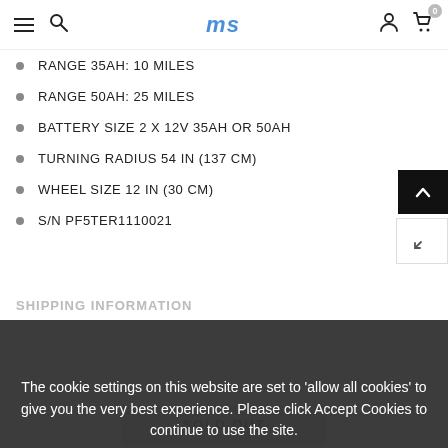ms [logo] — navigation header with hamburger, search, logo, user, cart (0)
RANGE 35Ah: 10 MILES
RANGE 50Ah: 25 MILES
BATTERY SIZE 2 X 12V 35Ah or 50Ah
TURNING RADIUS 54 IN (137 CM)
WHEEL SIZE 12 IN (30 CM)
S/N PF5TER1110021
The cookie settings on this website are set to 'allow all cookies' to give you the very best experience. Please click Accept Cookies to continue to use the site.
PRIVACY POLICY   ACCEPT ✔
SOLD OUT